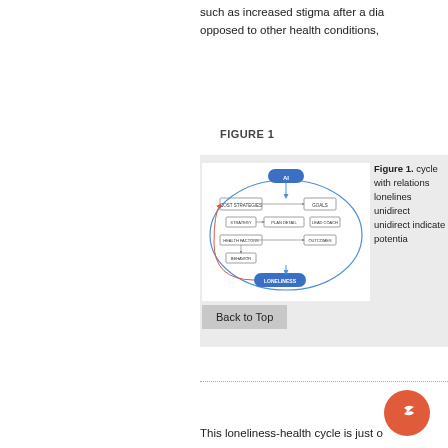such as increased stigma after a dia opposed to other health conditions,
FIGURE 1
[Figure (flowchart): Loneliness-health cycle flowchart showing relationships between loneliness, health conditions, and related social/psychological factors with directional arrows.]
Figure 1. cycle with relationships loneliness unidirect unidirect indicate potentia
Back to Top
This loneliness-health cycle is just o